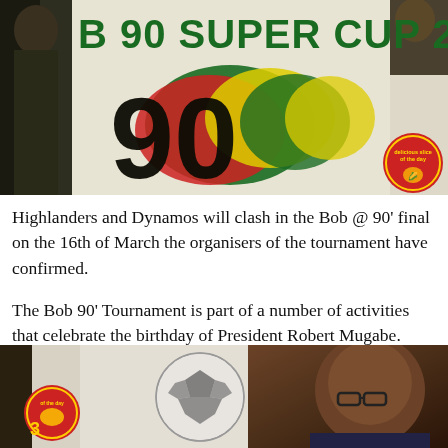[Figure (photo): Banner for Bob @ 90 Super Cup 2014 tournament with large '90' graphic in red, green, yellow and black colors, people silhouettes on sides, red circular badge in corner]
Highlanders and Dynamos will clash in the Bob @ 90' final on the 16th of March the organisers of the tournament have confirmed.
The Bob 90' Tournament is part of a number of activities that celebrate the birthday of President Robert Mugabe.
[Figure (photo): Photo showing soccer ball imagery and portrait of President Robert Mugabe with glasses, red badge visible on left side]